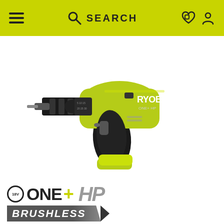SEARCH
[Figure (photo): RYOBI ONE+ HP 18V brushless cordless drill/driver in yellow-green and black, shown without battery on white background. The drill features a keyless chuck, brushless motor, and RYOBI ONE+HP branding on the body.]
[Figure (logo): 18V ONE+ HP logo with BRUSHLESS badge below it. ONE+ is in bold black, HP in italic grey, with a circular 18V badge. BRUSHLESS text appears on a dark diagonal banner below.]